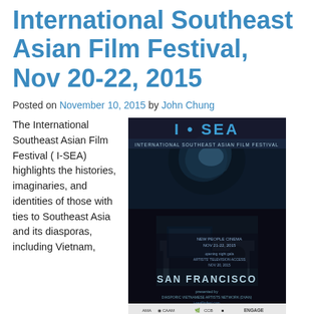International Southeast Asian Film Festival, Nov 20-22, 2015
Posted on November 10, 2015 by John Chung
[Figure (photo): Promotional poster for I-SEA International Southeast Asian Film Festival. Shows film stills, event details: New People Cinema Nov 21-22, 2015; Opening Night Gala at Artists' Television Access Nov 20, 2015; San Francisco. Presented by Diasporic Vietnamese Artists Network (DVAN). i-seafilmfest.com. Sponsor logos including AMA, CAAM, CCB, ENGAGE, DVAN, and others displayed below.]
The International Southeast Asian Film Festival ( I-SEA) highlights the histories, imaginaries, and identities of those with ties to Southeast Asia and its diasporas, including Vietnam, Cambodia, Laos, Singapore, and the Philippines. The selected films will have dialogue with local and international communities, drawing connections between wars then and